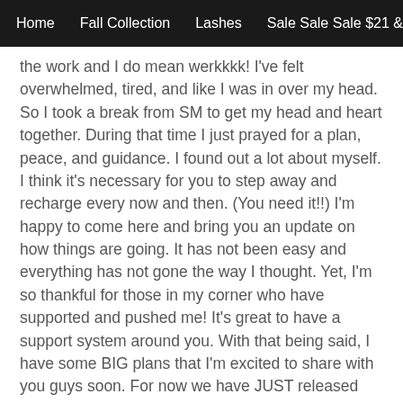Home   Fall Collection   Lashes   Sale Sale Sale $21 &
the work and I do mean werkkkk! I've felt overwhelmed, tired, and like I was in over my head. So I took a break from SM to get my head and heart together. During that time I just prayed for a plan, peace, and guidance. I found out a lot about myself. I think it's necessary for you to step away and recharge every now and then. (You need it!!) I'm happy to come here and bring you an update on how things are going. It has not been easy and everything has not gone the way I thought. Yet, I'm so thankful for those in my corner who have supported and pushed me! It's great to have a support system around you. With that being said, I have some BIG plans that I'm excited to share with you guys soon. For now we have JUST released our Fall Collection so goooooooooooo check it out and see what's new!
Thank you for coming back and being so supportive!